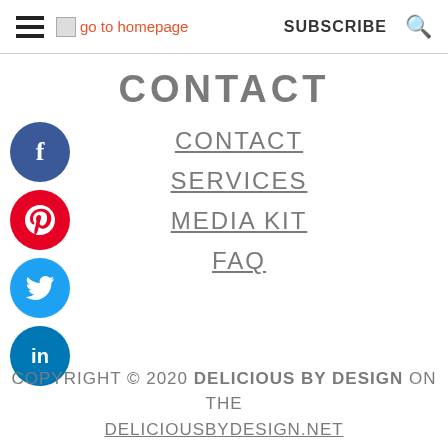go to homepage  SUBSCRIBE  🔍
CONTACT
CONTACT
SERVICES
MEDIA KIT
FAQ
COPYRIGHT © 2020 DELICIOUS BY DESIGN ON THE DELICIOUSBYDESIGN.NET